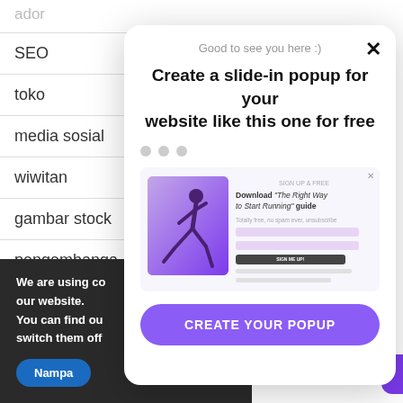ador
SEO
toko
media sosial
wiwitan
gambar stock
pengembangan
wordpress
We are using co our website. You can find ou switch them off
Nampa
[Figure (screenshot): A slide-in popup widget on a website. The popup has a close button (X), subtitle 'Good to see you here :)', bold heading 'Create a slide-in popup for your website like this one for free', three dot indicators, an inner preview card showing a running person image and a form with 'Download The Right Way to Start Running guide' text, input fields, and a SIGN ME UP button, and a purple 'CREATE YOUR POPUP' CTA button at the bottom.]